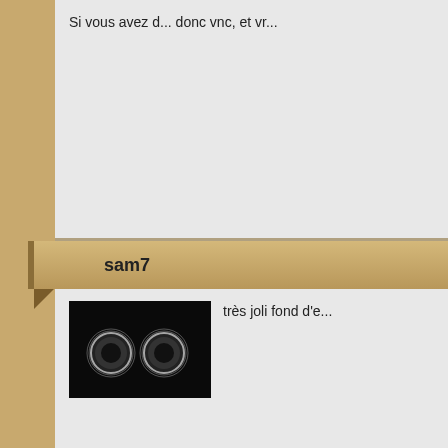Si vous avez d... donc vnc, et vr...
sam7
[Figure (photo): Avatar image showing two glowing eyes on dark background]
très joli fond d'e...
sam7 @ sweetu... & @ gafam.fr = "...
Jehova
Bonjour à tous. forum. Le problème c'... ne tourne pas, Mais pourquoi...